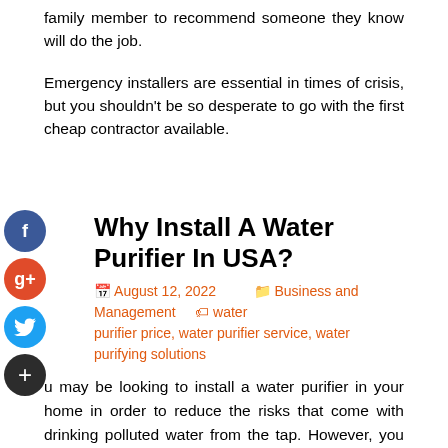family member to recommend someone they know will do the job.
Emergency installers are essential in times of crisis, but you shouldn't be so desperate to go with the first cheap contractor available.
Why Install A Water Purifier In USA?
August 12, 2022  Business and Management  water purifier price, water purifier service, water purifying solutions
u may be looking to install a water purifier in your home in order to reduce the risks that come with drinking polluted water from the tap. However, you may not know all of the many benefits to installing a water purifier in